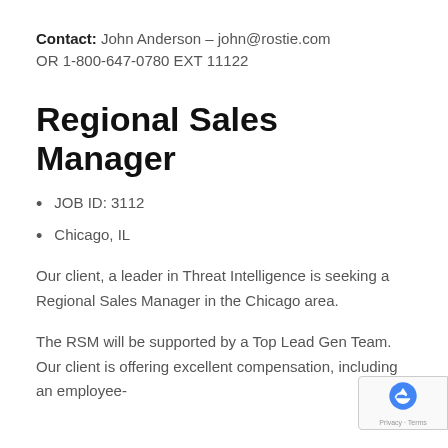Contact: John Anderson – john@rostie.com OR 1-800-647-0780 EXT 11122
Regional Sales Manager
JOB ID: 3112
Chicago, IL
Our client, a leader in Threat Intelligence is seeking a Regional Sales Manager in the Chicago area.
The RSM will be supported by a Top Lead Gen Team. Our client is offering excellent compensation, including an employee-